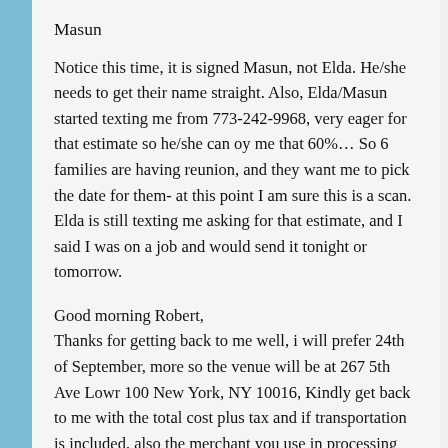Masun
Notice this time, it is signed Masun, not Elda. He/she needs to get their name straight. Also, Elda/Masun started texting me from 773-242-9968, very eager for that estimate so he/she can oy me that 60%… So 6 families are having reunion, and they want me to pick the date for them- at this point I am sure this is a scan. Elda is still texting me asking for that estimate, and I said I was on a job and would send it tonight or tomorrow.
Good morning Robert,
Thanks for getting back to me well, i will prefer 24th of September, more so the venue will be at 267 5th Ave Lowr 100 New York, NY 10016, Kindly get back to me with the total cost plus tax and if transportation is included, also the merchant you use in processing your card through. I will be awaiting your response. I also text you and couldn't get a response from you. Hope to hear from you soon. Elda